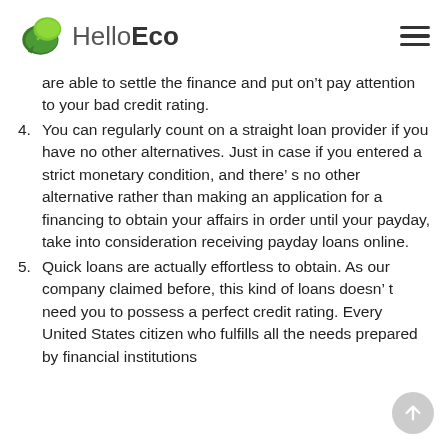HelloEco
are able to settle the finance and put on't pay attention to your bad credit rating.
4. You can regularly count on a straight loan provider if you have no other alternatives. Just in case if you entered a strict monetary condition, and there's no other alternative rather than making an application for a financing to obtain your affairs in order until your payday, take into consideration receiving payday loans online.
5. Quick loans are actually effortless to obtain. As our company claimed before, this kind of loans doesn't need you to possess a perfect credit rating. Every United States citizen who fulfills all the needs prepared by financial institutions